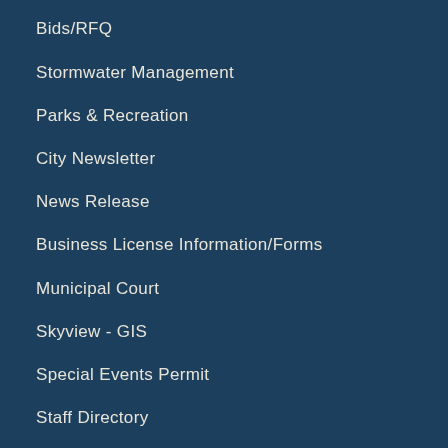Bids/RFQ
Stormwater Management
Parks & Recreation
City Newsletter
News Release
Business License Information/Forms
Municipal Court
Skyview - GIS
Special Events Permit
Staff Directory